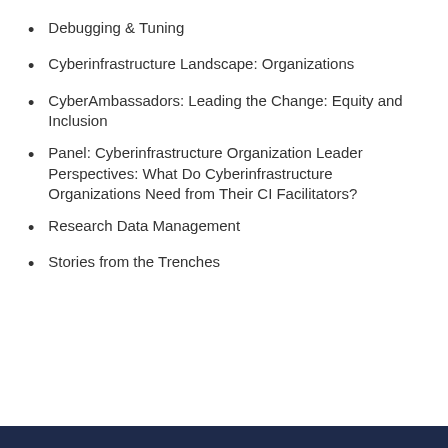Debugging & Tuning
Cyberinfrastructure Landscape: Organizations
CyberAmbassadors: Leading the Change: Equity and Inclusion
Panel: Cyberinfrastructure Organization Leader Perspectives: What Do Cyberinfrastructure Organizations Need from Their CI Facilitators?
Research Data Management
Stories from the Trenches